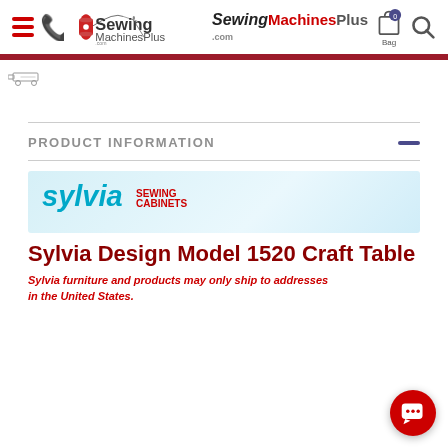[Figure (screenshot): SewingMachinesPlus.com website navigation bar with hamburger menu, phone icon, logo, bag icon with 0 badge, and search icon]
[Figure (logo): Breadcrumb navigation with sewing machine icon]
PRODUCT INFORMATION
[Figure (logo): Sylvia Sewing Cabinets brand logo banner with light blue background]
Sylvia Design Model 1520 Craft Table
Sylvia furniture and products may only ship to addresses in the United States.